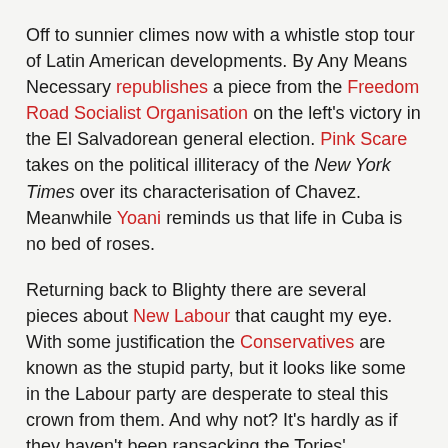Off to sunnier climes now with a whistle stop tour of Latin American developments. By Any Means Necessary republishes a piece from the Freedom Road Socialist Organisation on the left's victory in the El Salvadorean general election. Pink Scare takes on the political illiteracy of the New York Times over its characterisation of Chavez. Meanwhile Yoani reminds us that life in Cuba is no bed of roses.
Returning back to Blighty there are several pieces about New Labour that caught my eye. With some justification the Conservatives are known as the stupid party, but it looks like some in the Labour party are desperate to steal this crown from them. And why not? It's hardly as if they haven't been ransacking the Tories' wardrobe these last 15 years. Charlie provides some evidence for the prosecution. Dave of Though Cowards Flinch asks why Labour should be expecting the unions to trumpet their "achievements". Finally, Journeyman talks about his parents' resignation from the party.